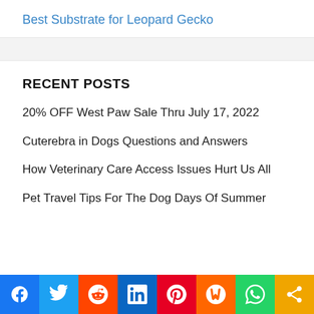Best Substrate for Leopard Gecko
RECENT POSTS
20% OFF West Paw Sale Thru July 17, 2022
Cuterebra in Dogs Questions and Answers
How Veterinary Care Access Issues Hurt Us All
Pet Travel Tips For The Dog Days Of Summer
[Figure (infographic): Social media sharing bar with icons for Facebook, Twitter, Reddit, LinkedIn, Pinterest, Mix, WhatsApp, and Share]